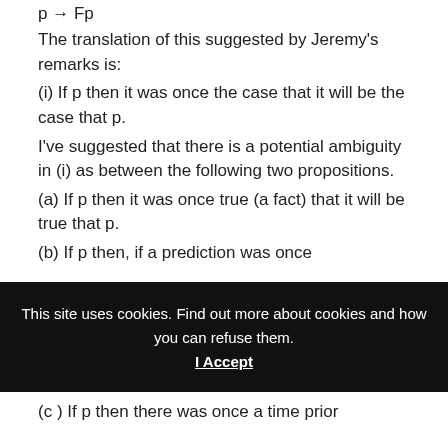The translation of this suggested by Jeremy's remarks is:
(i) If p then it was once the case that it will be the case that p.
I've suggested that there is a potential ambiguity in (i) as between the following two propositions.
(a) If p then it was once true (a fact) that it will be true that p.
(b) If p then, if a prediction was once [cut off]
[Figure (screenshot): Cookie consent banner with black background. Text: 'This site uses cookies. Find out more about cookies and how you can refuse them.' with 'I Accept' button.]
(c ) If p then there was once a time prior [cut off]